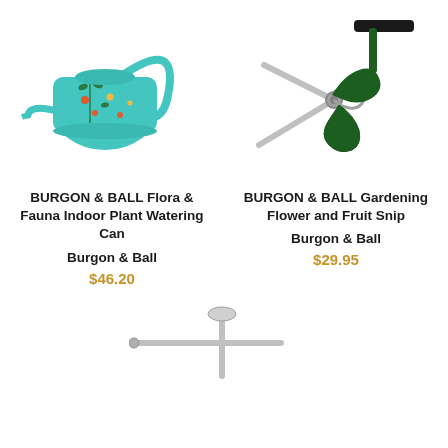[Figure (photo): Teal/turquoise decorative indoor watering can with floral and fauna print, long curved spout]
[Figure (photo): Green-handled gardening flower and fruit snip/scissors with spring mechanism]
BURGON & BALL Flora & Fauna Indoor Plant Watering Can
Burgon & Ball
$46.20
BURGON & BALL Gardening Flower and Fruit Snip
Burgon & Ball
$29.95
[Figure (photo): Silver/chrome T-bar sprinkler or garden tool on white background]